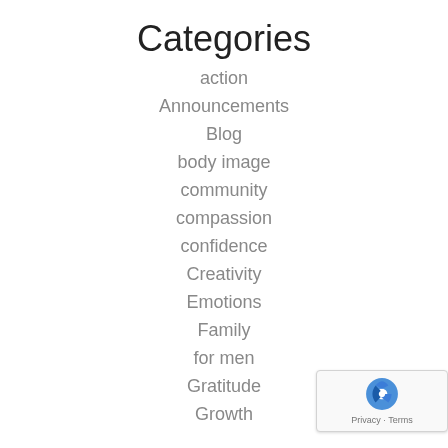Categories
action
Announcements
Blog
body image
community
compassion
confidence
Creativity
Emotions
Family
for men
Gratitude
Growth